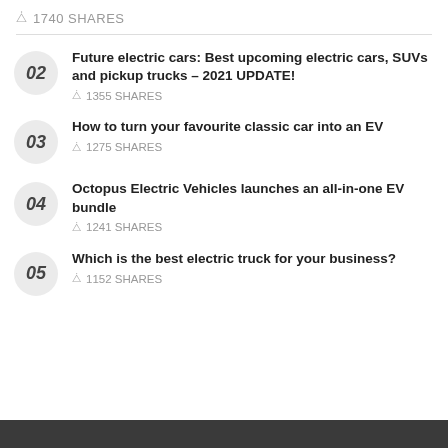1740 SHARES
02 Future electric cars: Best upcoming electric cars, SUVs and pickup trucks – 2021 UPDATE! 1355 SHARES
03 How to turn your favourite classic car into an EV 1275 SHARES
04 Octopus Electric Vehicles launches an all-in-one EV bundle 1241 SHARES
05 Which is the best electric truck for your business? 1152 SHARES